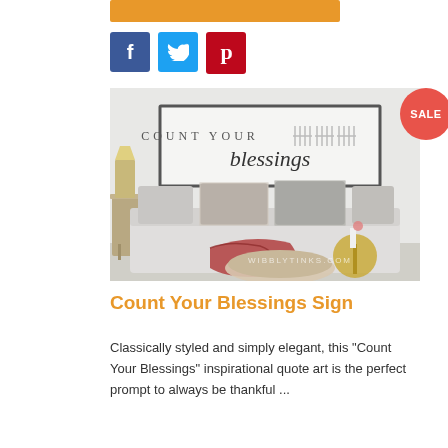[Figure (other): Orange button/bar at top]
[Figure (other): Social media share buttons: Facebook (blue f), Twitter (blue bird), Pinterest (red p)]
[Figure (photo): Product photo of a 'Count Your Blessings' framed sign displayed above a white sofa with decorative pillows and a red throw blanket. Watermark reads WIBBLYTINKS.COM. A red SALE badge circle appears in the upper right of the image area.]
Count Your Blessings Sign
Classically styled and simply elegant, this "Count Your Blessings" inspirational quote art is the perfect prompt to always be thankful ...